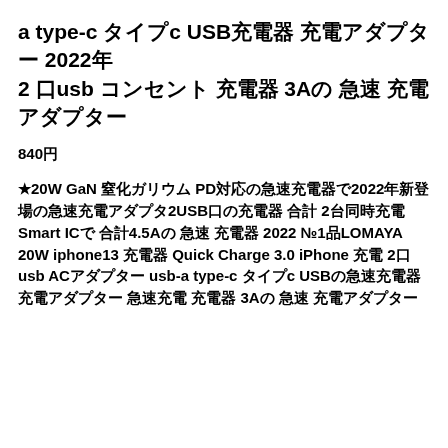a type-c タイプc USB充電器 充電アダプター 2022年 2 口usb コンセント 充電器 3Aの 急速 充電アダプター
840円
★20W GaN 窒化ガリウム PD対応の急速充電器で2022年新登場の急速充電アダプタ2USB口の充電器 合計 2台同時充電 Smart ICで 合計4.5Aの 急速 充電器 2022 №1品LOMAYA 20W iphone13 充電器 Quick Charge 3.0 iPhone 充電 2口usb ACアダプター usb-a type-c タイプc USBの急速充電器 充電アダプター 急速充電 充電器 3Aの 急速 充電アダプター